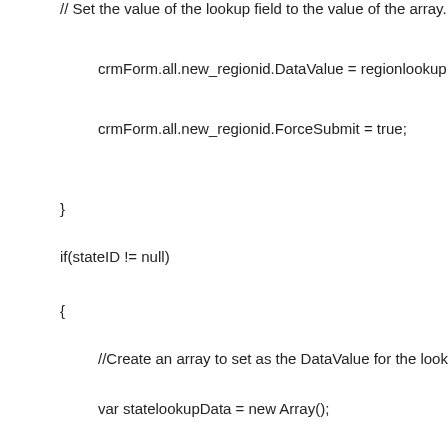// Set the value of the lookup field to the value of the array.
crmForm.all.new_regionid.DataValue = regionlookupData;
crmForm.all.new_regionid.ForceSubmit = true;
}
if(stateID != null)
{
//Create an array to set as the DataValue for the lookup control.
var statelookupData = new Array();
//Create an Object add to the array.
var statelookupItem = new Object();